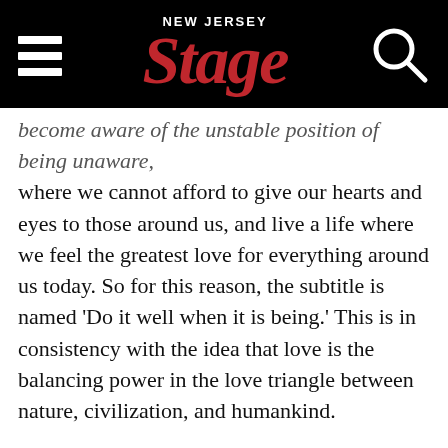NEW JERSEY Stage
become aware of the unstable position of being unaware, where we cannot afford to give our hearts and eyes to those around us, and live a life where we feel the greatest love for everything around us today. So for this reason, the subtitle is named ‘Do it well when it is being.’ This is in consistency with the idea that love is the balancing power in the love triangle between nature, civilization, and humankind.
Moreover, with the advancement of IT and AI, many tools, jobs, and so forth have disappeared. Without a choice or time to adapt, we have been subject to the vast changes in our civilization and it has become a part of our daily lives. As such, I wanted to symbolize this sentiment